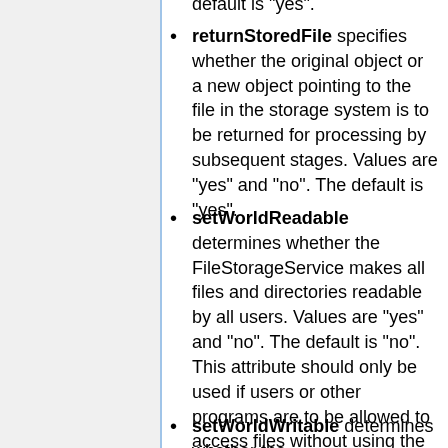default is "yes".
returnStoredFile specifies whether the original object or a new object pointing to the file in the storage system is to be returned for processing by subsequent stages. Values are "yes" and "no". The default is "yes".
setWorldReadable determines whether the FileStorageService makes all files and directories readable by all users. Values are "yes" and "no". The default is "no". This attribute should only be used if users or other programs are to be allowed to access files without using the FileStorageService web server. This feature is not recommended.
setWorldWritable determines whether the FileStorageService